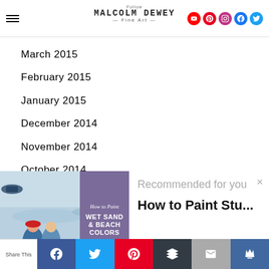Malcolm Dewey Fine Art — Follow
March 2015
February 2015
January 2015
December 2014
November 2014
October 2014
September 2014
[Figure (screenshot): Popup recommendation overlay showing a painting of beach scene with text 'How to Paint Wet Sand & Beach Colors' on purple banner, with 'Recommended for you' header and article title 'How to Paint Stu...' visible]
Share This